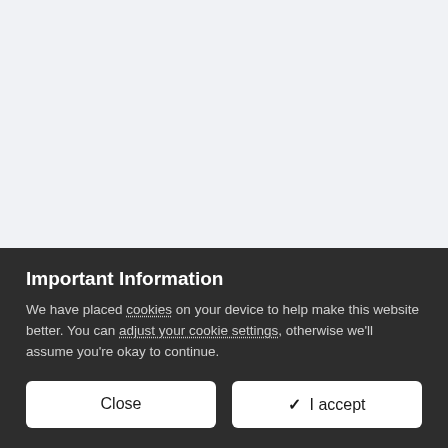[Figure (screenshot): Forum post header showing user 'busdriver1', posted July 25, 2020, post #797]
Important Information
We have placed cookies on your device to help make this website better. You can adjust your cookie settings, otherwise we'll assume you're okay to continue.
Close | ✔ I accept